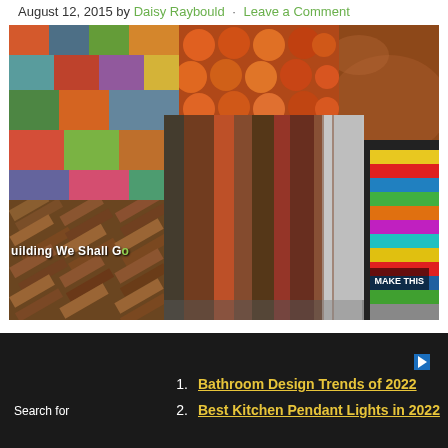August 12, 2015 by Daisy Raybould · Leave a Comment
[Figure (photo): Collage of various flooring types including colorful patterned floors, striped runner, dark textured floor, wooden parquet, woven mat, and painted striped floor.]
Creating a unique floor can really transform a room, but
1. Bathroom Design Trends of 2022
2. Best Kitchen Pendant Lights in 2022
Search for